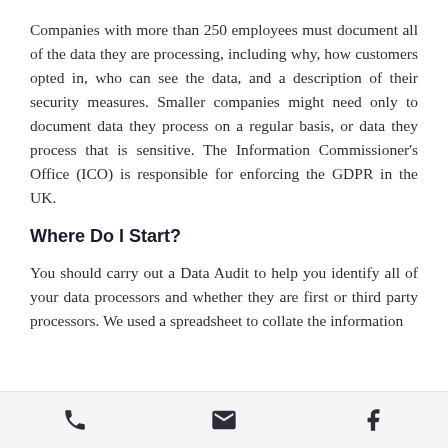Companies with more than 250 employees must document all of the data they are processing, including why, how customers opted in, who can see the data, and a description of their security measures. Smaller companies might need only to document data they process on a regular basis, or data they process that is sensitive. The Information Commissioner's Office (ICO) is responsible for enforcing the GDPR in the UK.
Where Do I Start?
You should carry out a Data Audit to help you identify all of your data processors and whether they are first or third party processors. We used a spreadsheet to collate the information
phone | email | facebook